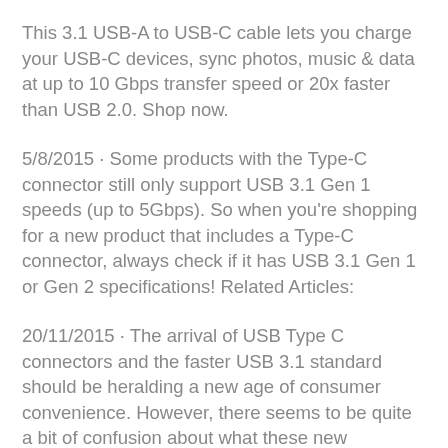This 3.1 USB-A to USB-C cable lets you charge your USB-C devices, sync photos, music & data at up to 10 Gbps transfer speed or 20x faster than USB 2.0. Shop now.
5/8/2015 · Some products with the Type-C connector still only support USB 3.1 Gen 1 speeds (up to 5Gbps). So when you're shopping for a new product that includes a Type-C connector, always check if it has USB 3.1 Gen 1 or Gen 2 specifications! Related Articles:
20/11/2015 · The arrival of USB Type C connectors and the faster USB 3.1 standard should be heralding a new age of consumer convenience. However, there seems to be quite a bit of confusion about what these new standards mean...